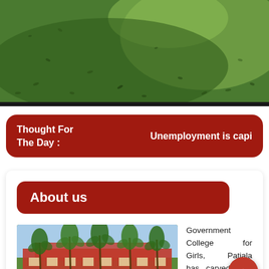[Figure (photo): Aerial/close-up photo of green grass lawn with scattered leaves/debris and light patches]
Thought For The Day : Unemployment is capi
About us
[Figure (photo): Photo of Government College for Girls, Patiala — a red/orange building with tall palm trees in front, under a blue sky]
Government College for Girls, Patiala has carved